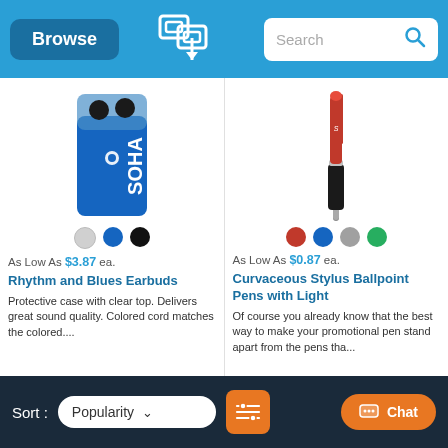Browse | [logo] | Search
[Figure (photo): Blue earbuds case with SOHA branding and earbuds visible at top]
[Figure (photo): Red and black stylus ballpoint pen with light tip]
As Low As $3.87 ea.
As Low As $0.87 ea.
Rhythm and Blues Earbuds
Curvaceous Stylus Ballpoint Pens with Light
Protective case with clear top. Delivers great sound quality. Colored cord matches the colored....
Of course you already know that the best way to make your promotional pen stand apart from the pens tha...
Sort : Popularity [filter] [Chat]